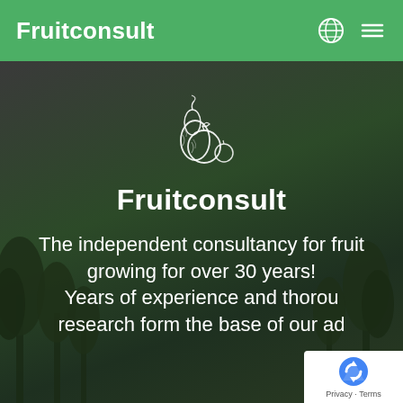Fruitconsult
[Figure (logo): Fruitconsult fruit logo: white chalk-style illustration of a pear, apple, and small fruits grouped together]
Fruitconsult
The independent consultancy for fruit growing for over 30 years! Years of experience and thorough research form the base of our ad
[Figure (other): Google reCAPTCHA badge bottom right corner showing reCAPTCHA logo and Privacy - Terms text]